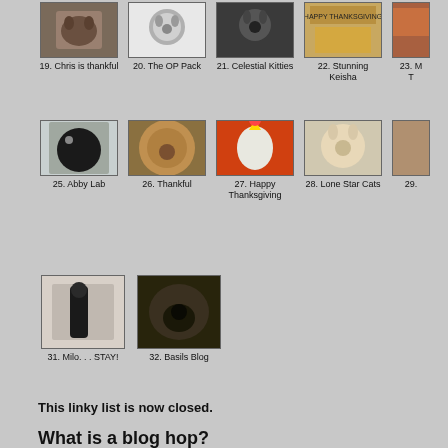[Figure (photo): Thumbnail photo 19: Chris is thankful]
19. Chris is thankful
[Figure (photo): Thumbnail photo 20: The OP Pack]
20. The OP Pack
[Figure (photo): Thumbnail photo 21: Celestial Kitties]
21. Celestial Kitties
[Figure (photo): Thumbnail photo 22: Stunning Keisha]
22. Stunning Keisha
[Figure (photo): Thumbnail photo 23: partial, M... T...]
23. M
T
[Figure (photo): Thumbnail photo 25: Abby Lab]
25. Abby Lab
[Figure (photo): Thumbnail photo 26: Thankful]
26. Thankful
[Figure (photo): Thumbnail photo 27: Happy Thanksgiving - cat with crown on orange background]
27. Happy Thanksgiving
[Figure (photo): Thumbnail photo 28: Lone Star Cats]
28. Lone Star Cats
[Figure (photo): Thumbnail photo 29: partial]
29.
[Figure (photo): Thumbnail photo 31: Milo. . . STAY!]
31. Milo. . . STAY!
[Figure (photo): Thumbnail photo 32: Basils Blog]
32. Basils Blog
This linky list is now closed.
What is a blog hop?